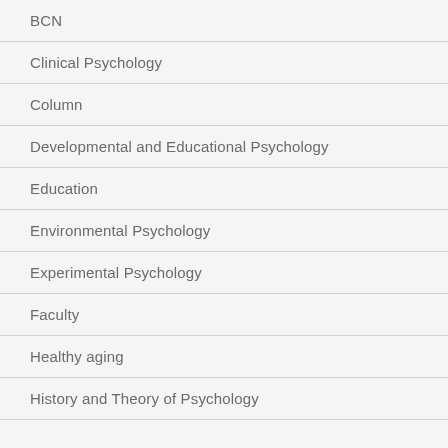BCN
Clinical Psychology
Column
Developmental and Educational Psychology
Education
Environmental Psychology
Experimental Psychology
Faculty
Healthy aging
History and Theory of Psychology